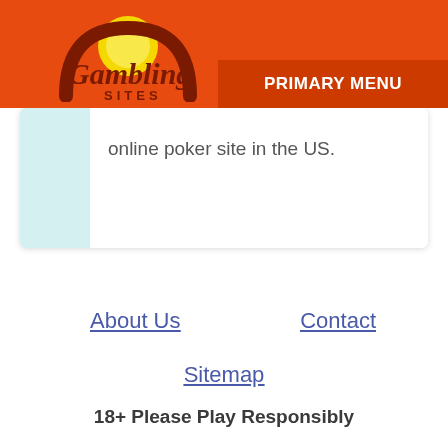[Figure (logo): Gambling Sites logo — stylized sun rising over a dark red arch with yellow and green colors, text 'Gambling SITES' in dark red]
PRIMARY MENU
online poker site in the US.
About Us
Contact
Sitemap
18+ Please Play Responsibly